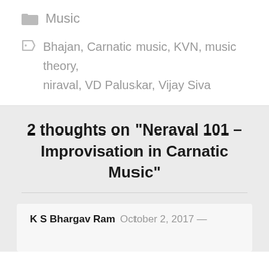Music
Bhajan, Carnatic music, KVN, music theory, niraval, VD Paluskar, Vijay Siva
2 thoughts on “Neraval 101 – Improvisation in Carnatic Music”
K S Bhargav Ram   October 2, 2017 —